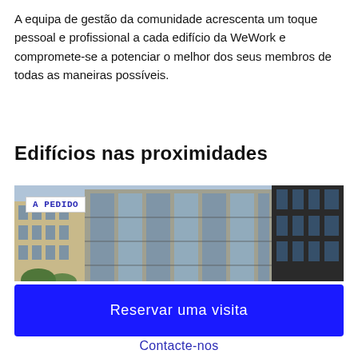A equipa de gestão da comunidade acrescenta um toque pessoal e profissional a cada edifício da WeWork e compromete-se a potenciar o melhor dos seus membros de todas as maneiras possíveis.
Edifícios nas proximidades
[Figure (photo): Exterior photograph of a multi-story glass and concrete office building with a badge overlay reading 'A PEDIDO']
Reservar uma visita
Contacte-nos